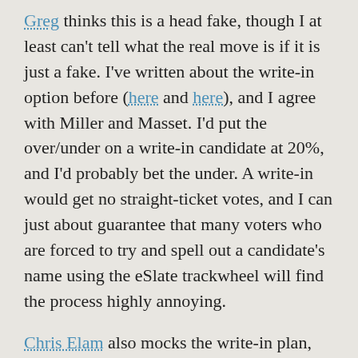Greg thinks this is a head fake, though I at least can't tell what the real move is if it is just a fake. I've written about the write-in option before (here and here), and I agree with Miller and Masset. I'd put the over/under on a write-in candidate at 20%, and I'd probably bet the under. A write-in would get no straight-ticket votes, and I can just about guarantee that many voters who are forced to try and spell out a candidate's name using the eSlate trackwheel will find the process highly annoying.
Chris Elam also mocks the write-in plan, while suggesting that the last best option at this point is for the local GOP to start pushing Libertarian candidate Bob Smither. I agree that makes more sense than the write-in scenario does, but it's still not without some risk for the Republicans. For them to push Smither, they can't have a simple "vote straight